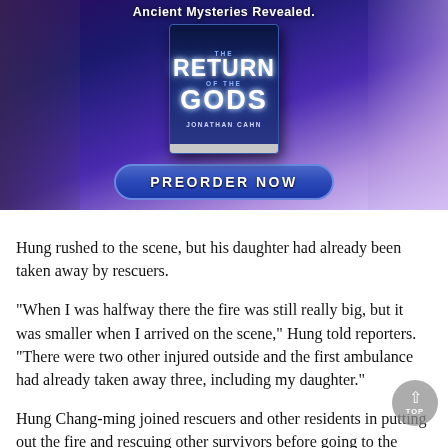[Figure (illustration): Book advertisement for 'The Return of the Gods' by Jonathan Cahn with a 'PREORDER NOW' button. Shows a book cover with glowing blue/purple design against a mystical temple background. Top text reads 'Ancient Mysteries Revealed.']
Hung rushed to the scene, but his daughter had already been taken away by rescuers.
"When I was halfway there the fire was still really big, but it was smaller when I arrived on the scene," Hung told reporters. "There were two other injured outside and the first ambulance had already taken away three, including my daughter."
Hung Chang-ming joined rescuers and other residents in putting out the fire and rescuing other survivors before going to the hospital to check on his daughter.
Hung Yu-ting was recovering Friday from burns to her arms,